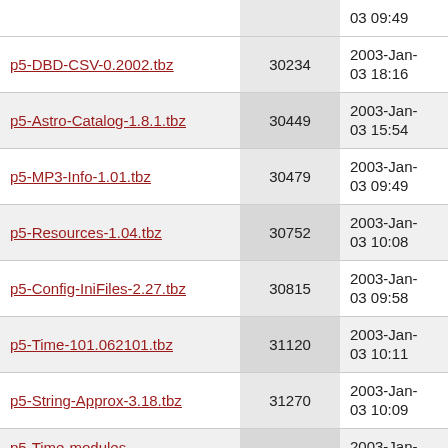| Name | Size | Date |
| --- | --- | --- |
| (partial top row) |  | 03 09:49 |
| p5-DBD-CSV-0.2002.tbz | 30234 | 2003-Jan-03 18:16 |
| p5-Astro-Catalog-1.8.1.tbz | 30449 | 2003-Jan-03 15:54 |
| p5-MP3-Info-1.01.tbz | 30479 | 2003-Jan-03 09:49 |
| p5-Resources-1.04.tbz | 30752 | 2003-Jan-03 10:08 |
| p5-Config-IniFiles-2.27.tbz | 30815 | 2003-Jan-03 09:58 |
| p5-Time-101.062101.tbz | 31120 | 2003-Jan-03 10:11 |
| p5-String-Approx-3.18.tbz | 31270 | 2003-Jan-03 10:09 |
| p5-Time-modules-2002.1001.tbz | 31586 | 2003-Jan-03 10:12 |
| p5-XML-Simple-1.08.tbz | 31588 | 2003-Jan-03 12:14 |
| p5-Net-Dict-2.06.tbz | 31597 | 2003-Jan-03 11:55 |
| p5-Math-FFT-0.25.tbz | 31761 | 2003-Jan- |